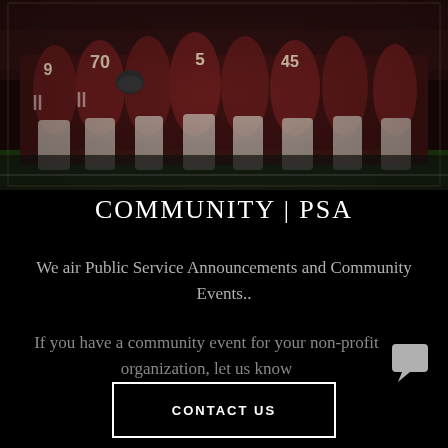[Figure (photo): Football team players gathered together on a field, wearing dark red/maroon jerseys with white numbers including 9, 70, 5, 45, and others visible from behind]
COMMUNITY | PSA
We air Public Service Announcements and Community Events..
If you have a community event for your non-profit organization, let us know
CONTACT US